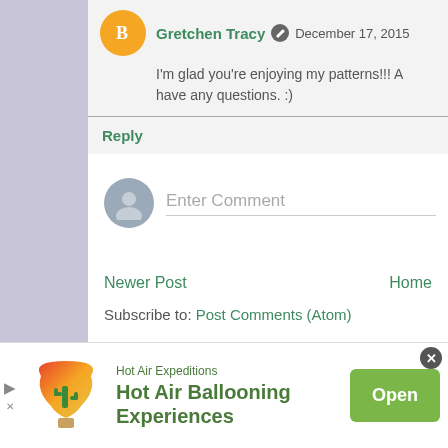Gretchen Tracy  December 17, 2015
I'm glad you're enjoying my patterns!!! A have any questions. :)
Reply
Enter Comment
Newer Post
Home
Subscribe to: Post Comments (Atom)
[Figure (infographic): Hot Air Expeditions advertisement banner with hot air balloon logo, text 'Hot Air Ballooning Experiences', and green Open button]